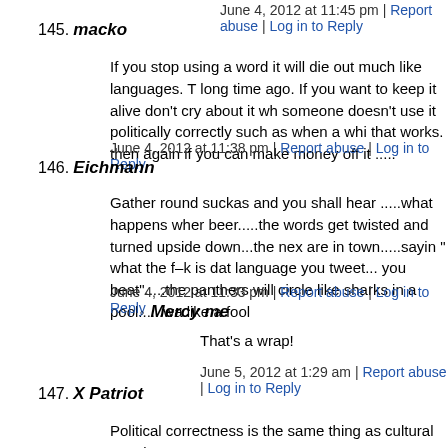June 4, 2012 at 11:45 pm | Report abuse | Log in to Reply
145. macko
If you stop using a word it will die out much like languages. T long time ago. If you want to keep it alive don't cry about it wh someone doesn't use it politically correctly such as when a whi that works. then again if you can make money off it .....
June 4, 2012 at 11:38 pm | Report abuse | Log in to Reply
146. Eichmann
Gather round suckas and you shall hear .....what happens wher beer.....the words get twisted and turned upside down...the nex are in town.....sayin " what the f–k is dat language you tweet... you beat".....the panthers will circle like sharks in a pool......wa like a fool
June 4, 2012 at 11:33 pm | Report abuse | Log in to Reply
Mercy me
That's a wrap!
June 5, 2012 at 1:29 am | Report abuse | Log in to Reply
147. X Patriot
Political correctness is the same thing as cultural Marxism. We